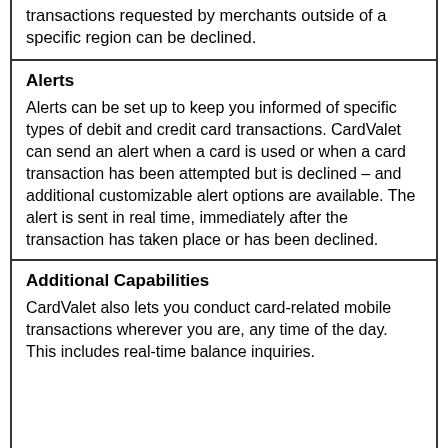transactions requested by merchants outside of a specific region can be declined.
Alerts
Alerts can be set up to keep you informed of specific types of debit and credit card transactions. CardValet can send an alert when a card is used or when a card transaction has been attempted but is declined – and additional customizable alert options are available. The alert is sent in real time, immediately after the transaction has taken place or has been declined.
Additional Capabilities
CardValet also lets you conduct card-related mobile transactions wherever you are, any time of the day. This includes real-time balance inquiries.